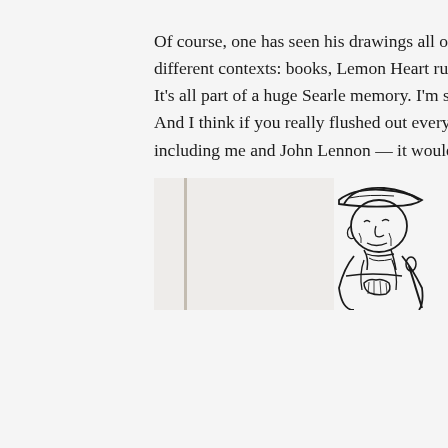Of course, one has seen his drawings all over the world in different contexts: books, Lemon Heart rum ads, all that. It's all part of a huge Searle memory. I'm so impressed. And I think if you really flushed out everybody — including me and John Lennon — it would be a...
[Figure (illustration): Line drawing illustration of an elderly person wearing a flat cap and coat, with a slightly hunched posture, rendered in black ink on a light background.]